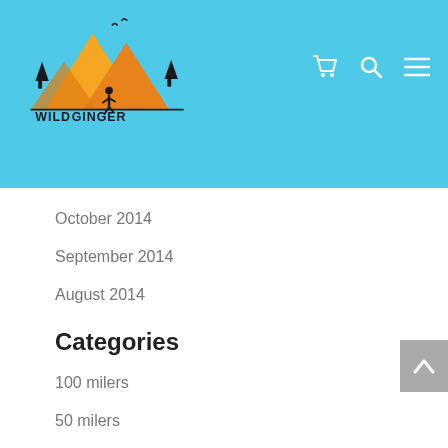[Figure (logo): Wild Ginger Running logo with mountain silhouette in orange/yellow and running figure, with navigation icons (cart, search, hamburger menu) in the blue header]
October 2014
September 2014
August 2014
Categories
100 milers
50 milers
About & Services
Accessories
Advice
Alpine running